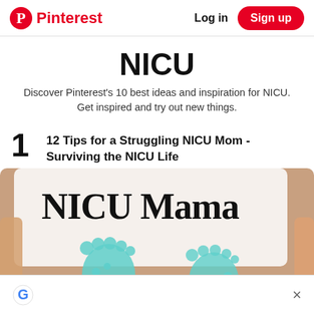Pinterest  Log in  Sign up
NICU
Discover Pinterest's 10 best ideas and inspiration for NICU. Get inspired and try out new things.
1  12 Tips for a Struggling NICU Mom - Surviving the NICU Life
[Figure (photo): Image of tiny baby feet with teal/mint footprint design overlaid, with text 'NICU Mama' at top. Close-up photo showing a hand holding tiny premature baby feet.]